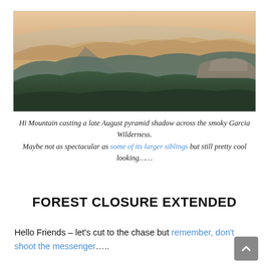[Figure (photo): Panoramic mountain landscape photo showing Hi Mountain casting a late August pyramid shadow across the smoky Garcia Wilderness. Rolling forested hills with warm sunset light on distant ridges.]
Hi Mountain casting a late August pyramid shadow across the smoky Garcia Wilderness.
Maybe not as spectacular as some of its larger siblings but still pretty cool looking……
FOREST CLOSURE EXTENDED
Hello Friends – let's cut to the chase but remember, don't shoot the messenger…..